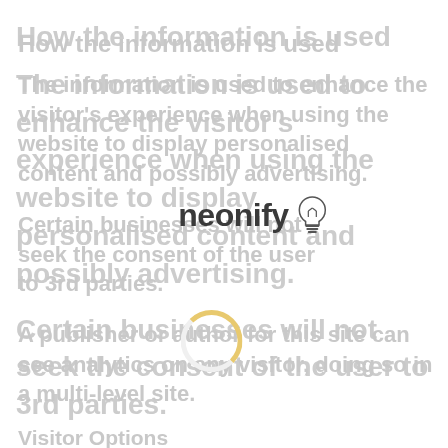How the information is used
The information is used to enhance the visitor's experience when using the website to display personalised content and possibly advertising.
Certain businesses will not seek the consent of the user to 3rd parties.
A publisher or author for this site can see analytics on any visitor, doing so in a multi-level site.
[Figure (logo): Neonify logo with lightbulb icon]
[Figure (other): Loading spinner animation]
Visitor Options
If you receive information that our privacy and cookies policy has been updated in relation to the use of the website, the details are then accessible to